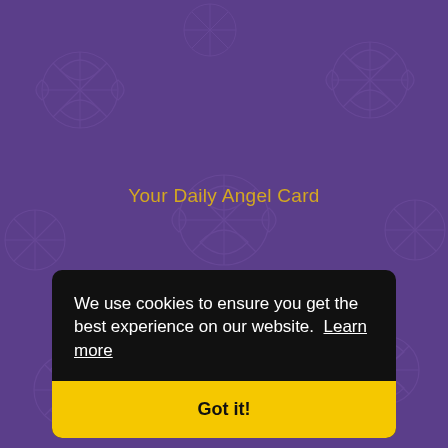[Figure (illustration): Purple background with decorative angel/star outline pattern in slightly lighter purple]
Your Daily Angel Card
We use cookies to ensure you get the best experience on our website. Learn more
Got it!